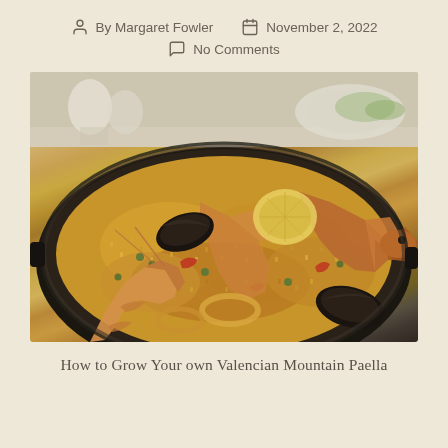By Margaret Fowler   November 2, 2022
No Comments
[Figure (photo): A large paella pan filled with saffron rice, large prawns/shrimp, mussels, squid rings, peas, and red peppers — a seafood paella. Close-up food photography with a blurred table background showing plates and glassware.]
How to Grow Your own Valencian Mountain Paella